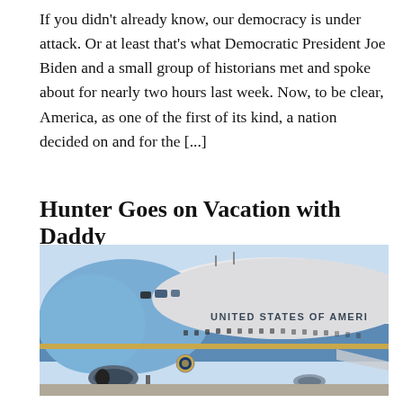If you didn't already know, our democracy is under attack. Or at least that's what Democratic President Joe Biden and a small group of historians met and spoke about for nearly two hours last week. Now, to be clear, America, as one of the first of its kind, a nation decided on and for the [...]
Hunter Goes on Vacation with Daddy
[Figure (photo): Air Force One (United States of America presidential aircraft, a blue and white Boeing 747) parked on tarmac, front/side view showing nose, cockpit windows, engines, and partial fuselage with 'UNITED STATES OF AMERI...' text on the side.]